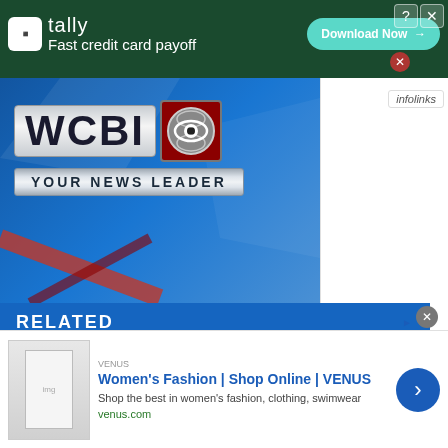[Figure (screenshot): Tally app advertisement banner: dark green background with Tally logo, text 'Fast credit card payoff', and 'Download Now' button]
[Figure (logo): WCBI CBS affiliate logo with 'YOUR NEWS LEADER' tagline on blue background]
RELATED
[Figure (screenshot): WCBI First Alert weather graphic showing Temperature Trend with Average High: 91, and temperature values 90, 92, 91, 91, 92, 87, 83]
infolinks
[Figure (screenshot): VENUS Women's Fashion advertisement: 'Women's Fashion | Shop Online | VENUS', 'Shop the best in women's fashion, clothing, swimwear', 'venus.com']